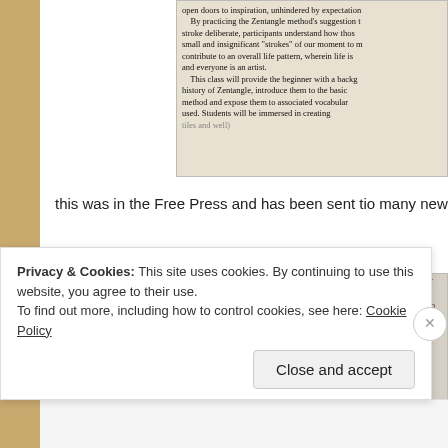[Figure (photo): Scanned newspaper excerpt showing text about Zentangle method. Partially visible, showing paragraphs about open doors to inspiration, stroke deliberate, Zentangle suggestion, life pattern, and class introduction.]
this was in the Free Press and has been sent tio many newspapers a
[Figure (photo): Scanned newspaper excerpt showing text about Zentangle art: enjoyed all over the world, form of meditation, relaxed focus, intuitive insights, non-verbal language of patterns, open doors to inspiration, unhindered by expectations or anxiety, Zentangle method suggestion.]
Privacy & Cookies: This site uses cookies. By continuing to use this website, you agree to their use.
To find out more, including how to control cookies, see here: Cookie Policy
Close and accept